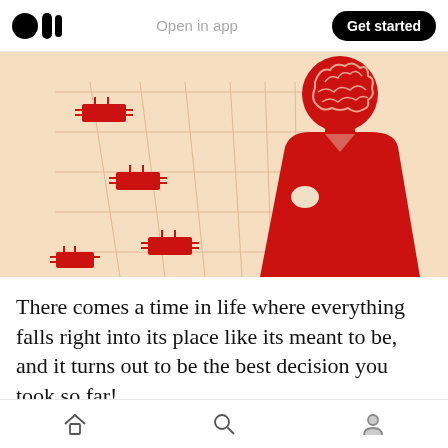Open in app | Get started
[Figure (illustration): Artistic illustration of a red silhouette of a person in a suit thinking, with brain visible through the head, set against a background of bookshelves and circuit board elements in red and light orange tones.]
There comes a time in life where everything falls right into its place like its meant to be, and it turns out to be the best decision you took so far!
My data science journey was somewhat
Home | Search | Profile